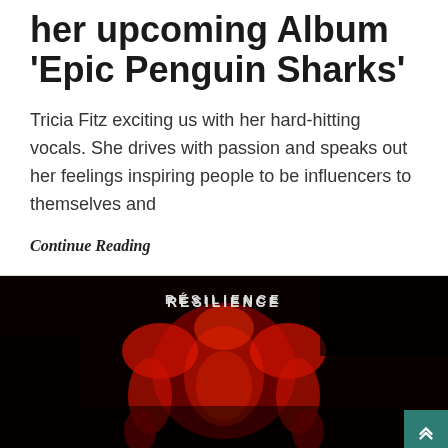her upcoming Album 'Epic Penguin Sharks'
Tricia Fitz exciting us with her hard-hitting vocals. She drives with passion and speaks out her feelings inspiring people to be influencers to themselves and
Continue Reading
[Figure (photo): Dark album cover image with red-tinted skeletal or anatomical figure on black background, with the text RÉSILIENCE at the top in white spaced letters]